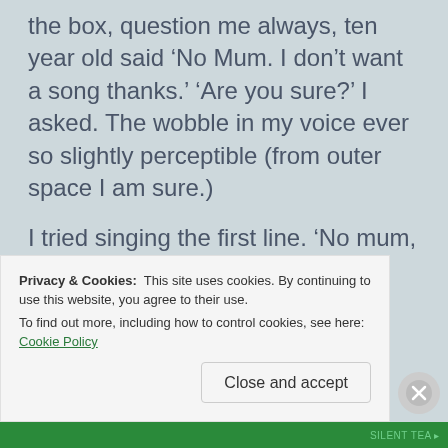the box, question me always, ten year old said ‘No Mum. I don’t want a song thanks.’ ‘Are you sure?’ I asked. The wobble in my voice ever so slightly perceptible (from outer space I am sure.)
I tried singing the first line. ‘No mum, I really don’t want you to sing.’
Naturally I handled this situation with...
Privacy & Cookies: This site uses cookies. By continuing to use this website, you agree to their use.
To find out more, including how to control cookies, see here: Cookie Policy
Close and accept